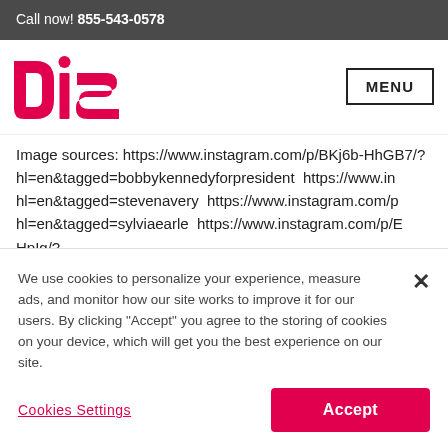Call now! 855-543-0578
[Figure (logo): DISH Network logo in red with dot above the 'i']
MENU
Image sources: https://www.instagram.com/p/BKj6b-HhGB7/? hl=en&tagged=bobbykennedyforpresident https://www.in hl=en&tagged=stevenavery https://www.instagram.com/p hl=en&tagged=sylviaearle https://www.instagram.com/p/E HpIg/? tagged=thekeepersnetflix https://www.instagram.com/p/B
We use cookies to personalize your experience, measure ads, and monitor how our site works to improve it for our users. By clicking "Accept" you agree to the storing of cookies on your device, which will get you the best experience on our site.
Cookies Settings
Accept